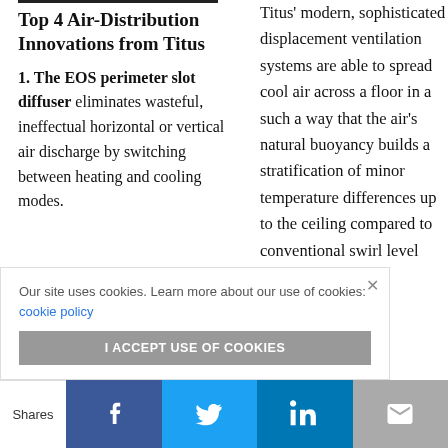Top 4 Air-Distribution Innovations from Titus
1. The EOS perimeter slot diffuser eliminates wasteful, ineffectual horizontal or vertical air discharge by switching between heating and cooling modes.
Titus' modern, sophisticated displacement ventilation systems are able to spread cool air across a floor in a such a way that the air's natural buoyancy builds a stratification of minor temperature differences up to the ceiling compared to conventional swirl level systems
Our site uses cookies. Learn more about our use of cookies: cookie policy
I ACCEPT USE OF COOKIES
Shares